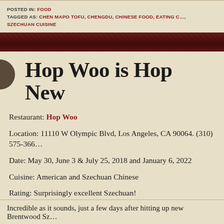POSTED IN: FOOD
TAGGED AS: CHEN MAPO TOFU, CHENGDU, CHINESE FOOD, EATING C…, SZECHUAN CUISINE
[Figure (photo): Dark red/maroon decorative banner strip with textured pattern]
Hop Woo is Hop New
Restaurant: Hop Woo
Location: 11110 W Olympic Blvd, Los Angeles, CA 90064. (310) 575-366…
Date: May 30, June 3 & July 25, 2018 and January 6, 2022
Cuisine: American and Szechuan Chinese
Rating: Surprisingly excellent Szechuan!
Incredible as it sounds, just a few days after hitting up new Brentwood Sz…